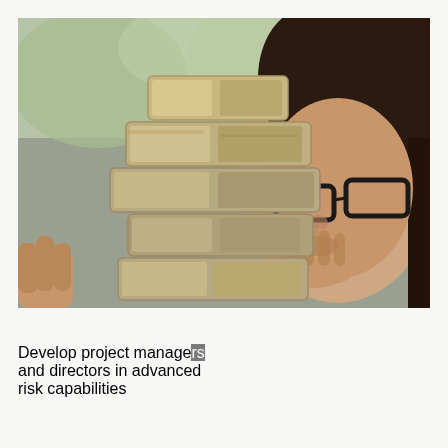[Figure (photo): A woman with dark hair and black-rimmed glasses peers over a stack of Jenga-like wooden blocks, with her hand raised near her mouth in a thoughtful or cautious gesture. The background is blurred greenery.]
Develop project managers and directors in advanced risk capabilities